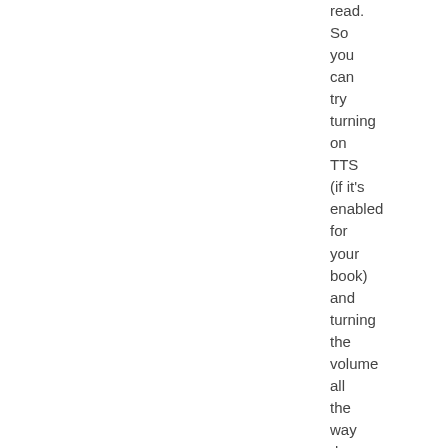read. So you can try turning on TTS (if it's enabled for your book) and turning the volume all the way down. Use the Aa key to